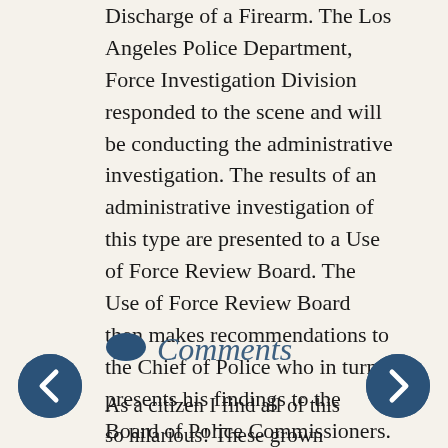Discharge of a Firearm. The Los Angeles Police Department, Force Investigation Division responded to the scene and will be conducting the administrative investigation. The results of an administrative investigation of this type are presented to a Use of Force Review Board. The Use of Force Review Board then makes recommendations to the Chief of Police who in turn presents his findings to the Board of Police Commissioners.
Posted at 12:23 PM in News Releases | Permalink | Comments (59)
Comments
As a citizen I find all of this so hilarious! These grown men sitting around being stupid and